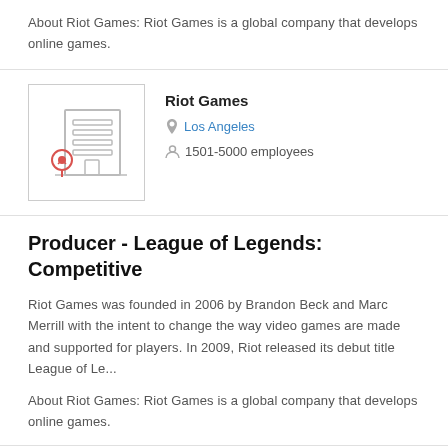About Riot Games: Riot Games is a global company that develops online games.
[Figure (illustration): Company logo illustration: office building with horizontal lines and a red tree/pin icon at the base]
Riot Games
Los Angeles
1501-5000 employees
Producer - League of Legends: Competitive
Riot Games was founded in 2006 by Brandon Beck and Marc Merrill with the intent to change the way video games are made and supported for players. In 2009, Riot released its debut title League of Le...
About Riot Games: Riot Games is a global company that develops online games.